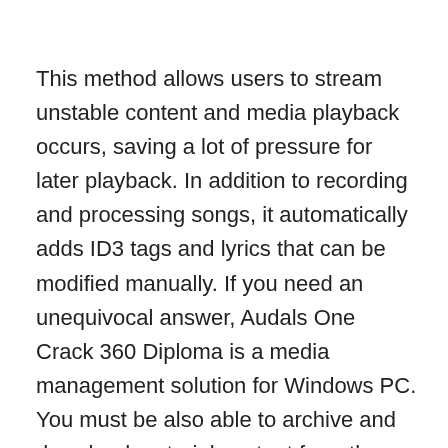This method allows users to stream unstable content and media playback occurs, saving a lot of pressure for later playback. In addition to recording and processing songs, it automatically adds ID3 tags and lyrics that can be modified manually. If you need an unequivocal answer, Audals One Crack 360 Diploma is a media management solution for Windows PC. You must be also able to archive and download material content from the Internet. For example, you can search for Audials One only and then download the selected songs from systems like YouTube, SoundCloud, and Vimeo. You can actually watch movies and TV series from Netflix, Amazon, and